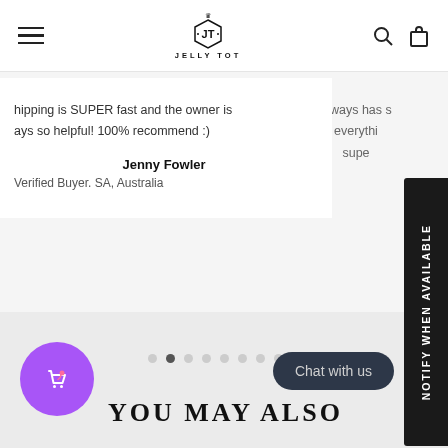[Figure (logo): Jelly Tot brand logo with crown and JT monogram in hexagonal shield, with text JELLY TOT below]
hipping is SUPER fast and the owner is ays so helpful! 100% recommend :)
always has s everythi supe
Jenny Fowler
Verified Buyer. SA, Australia
[Figure (infographic): Carousel pagination dots, 9 total with second dot active/filled]
[Figure (other): NOTIFY WHEN AVAILABLE vertical sidebar button in black]
[Figure (other): Purple circle with shopping bag and heart icon]
YOU MAY ALSO
Chat with us